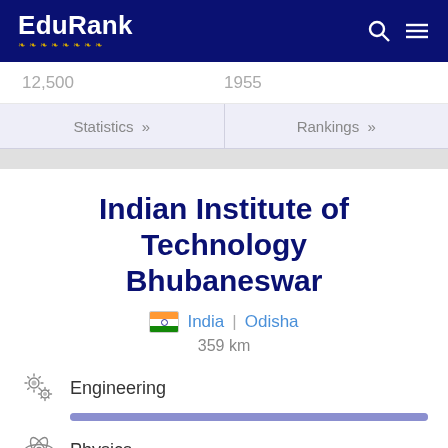EduRank
12,500   1955
Statistics »   Rankings »
Indian Institute of Technology Bhubaneswar
India | Odisha
359 km
Engineering
Physics
Chemistry